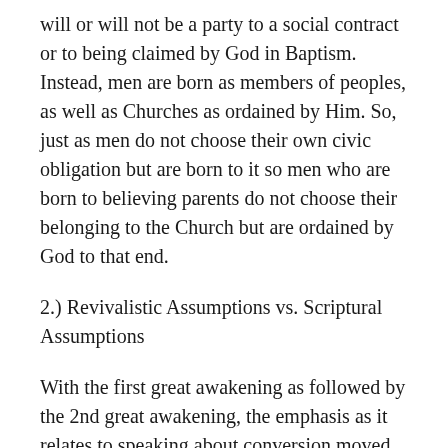will or will not be a party to a social contract or to being claimed by God in Baptism. Instead, men are born as members of peoples, as well as Churches as ordained by Him. So, just as men do not choose their own civic obligation but are born to it so men who are born to believing parents do not choose their belonging to the Church but are ordained by God to that end.
2.) Revivalistic Assumptions vs. Scriptural Assumptions
With the first great awakening as followed by the 2nd great awakening, the emphasis as it relates to speaking about conversion moved from the covenantal nurture of children in the